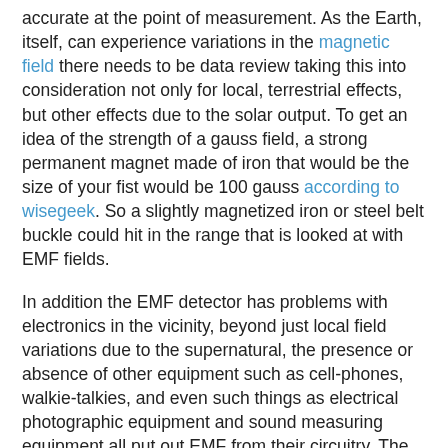accurate at the point of measurement. As the Earth, itself, can experience variations in the magnetic field there needs to be data review taking this into consideration not only for local, terrestrial effects, but other effects due to the solar output. To get an idea of the strength of a gauss field, a strong permanent magnet made of iron that would be the size of your fist would be 100 gauss according to wisegeek. So a slightly magnetized iron or steel belt buckle could hit in the range that is looked at with EMF fields.
In addition the EMF detector has problems with electronics in the vicinity, beyond just local field variations due to the supernatural, the presence or absence of other equipment such as cell-phones, walkie-talkies, and even such things as electrical photographic equipment and sound measuring equipment all put out EMF from their circuitry. The Klinge brothers do try to get around this by placing isolated EMF detectors with equipment in static use mode so as to get a baseline set of readings, but any other equipment in the region can create EMF and walking around with one while sporadically using a cellphone, Wi-Fi equipment, walkie-talkies, other recorders, etc. means that EMF readings for